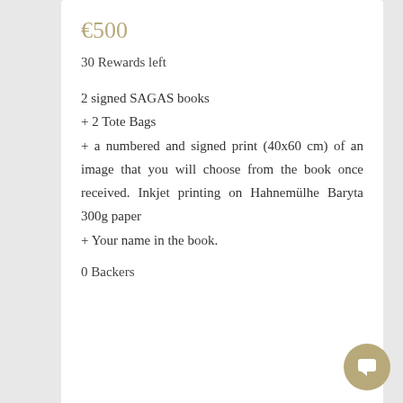€500
30 Rewards left
2 signed SAGAS books
+ 2 Tote Bags
+ a numbered and signed print (40x60 cm) of an image that you will choose from the book once received. Inkjet printing on Hahnemülhe Baryta 300g paper
+ Your name in the book.
0 Backers
Select Reward
€600